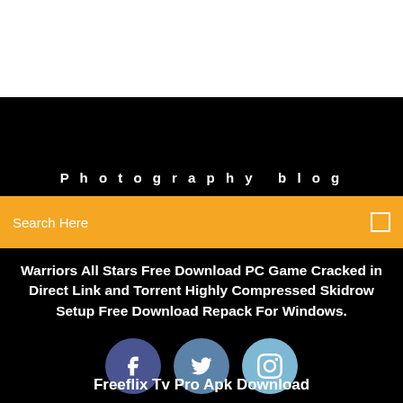Photography blog
Search Here
Warriors All Stars Free Download PC Game Cracked in Direct Link and Torrent Highly Compressed Skidrow Setup Free Download Repack For Windows.
[Figure (illustration): Three social media icon circles: Facebook (dark blue), Twitter (medium blue), Instagram (light blue)]
Freeflix Tv Pro Apk Download